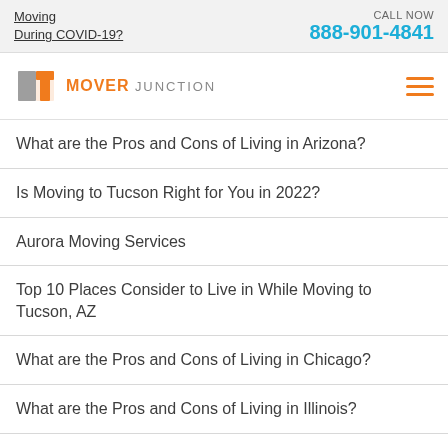Moving During COVID-19?   CALL NOW 888-901-4841
[Figure (logo): Mover Junction logo with orange and grey icon and hamburger menu]
What are the Pros and Cons of Living in Arizona?
Is Moving to Tucson Right for You in 2022?
Aurora Moving Services
Top 10 Places Consider to Live in While Moving to Tucson, AZ
What are the Pros and Cons of Living in Chicago?
What are the Pros and Cons of Living in Illinois?
What are the Pros and Cons of Living in Connecticut?